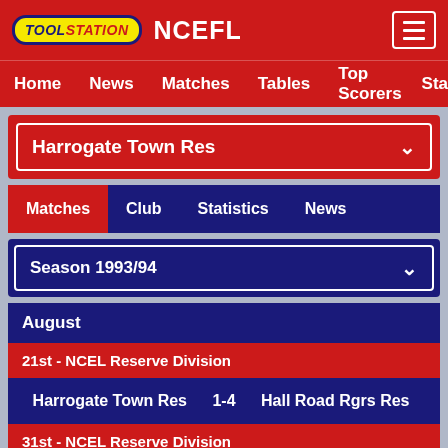TOOLSTATION NCEFL
Home  News  Matches  Tables  Top Scorers  Sta
Harrogate Town Res
Matches  Club  Statistics  News
Season 1993/94
August
21st - NCEL Reserve Division
| Home | Score | Away |
| --- | --- | --- |
| Harrogate Town Res | 1-4 | Hall Road Rgrs Res |
31st - NCEL Reserve Division
| Home | Score | Away |
| --- | --- | --- |
| Harrogate Town Res | 2-4 | Thackley Res |
September
4th - NCEL Reserve Division